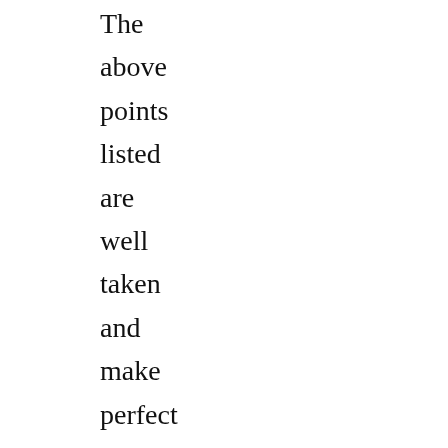The above points listed are well taken and make perfect sense and even an old salt like me can learn something new. If you want